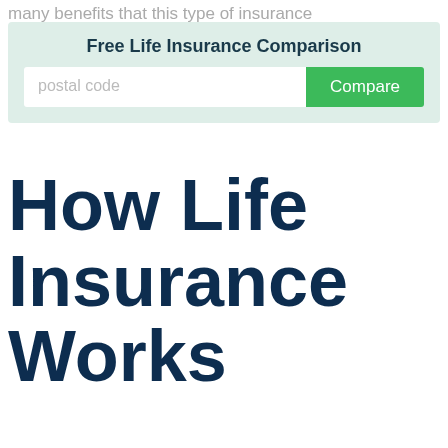many benefits that this type of insurance
[Figure (other): Free Life Insurance Comparison widget with postal code input field and green Compare button]
How Life Insurance Works